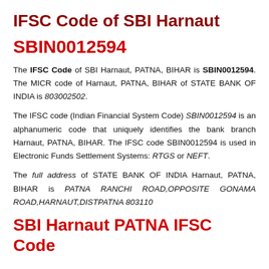IFSC Code of SBI Harnaut
SBIN0012594
The IFSC Code of SBI Harnaut, PATNA, BIHAR is SBIN0012594. The MICR code of Harnaut, PATNA, BIHAR of STATE BANK OF INDIA is 803002502.
The IFSC code (Indian Financial System Code) SBIN0012594 is an alphanumeric code that uniquely identifies the bank branch Harnaut, PATNA, BIHAR. The IFSC code SBIN0012594 is used in Electronic Funds Settlement Systems: RTGS or NEFT.
The full address of STATE BANK OF INDIA Harnaut, PATNA, BIHAR is PATNA RANCHI ROAD,OPPOSITE GONAMA ROAD,HARNAUT,DISTPATNA 803110
SBI Harnaut PATNA IFSC Code